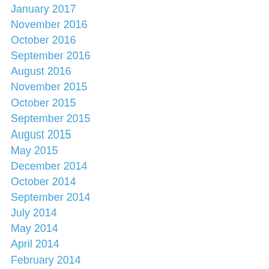January 2017
November 2016
October 2016
September 2016
August 2016
November 2015
October 2015
September 2015
August 2015
May 2015
December 2014
October 2014
September 2014
July 2014
May 2014
April 2014
February 2014
January 2014
December 2013
November 2013